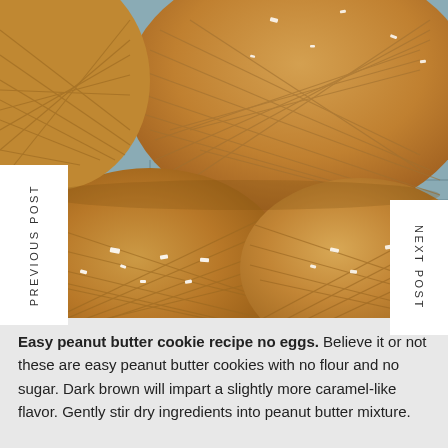[Figure (photo): Close-up photo of peanut butter cookies with crosshatch pattern and sea salt flakes on a wire cooling rack, warm golden-brown color]
PREVIOUS POST
NEXT POST
Easy peanut butter cookie recipe no eggs. Believe it or not these are easy peanut butter cookies with no flour and no sugar. Dark brown will impart a slightly more caramel-like flavor. Gently stir dry ingredients into peanut butter mixture.